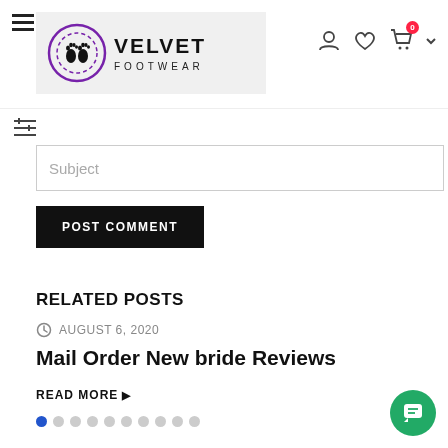[Figure (logo): Velvet Footwear logo with footprint icon in purple circle]
Subject
POST COMMENT
RELATED POSTS
AUGUST 6, 2020
Mail Order New bride Reviews
READ MORE ▶
[Figure (other): Pagination dots, first dot active blue, rest grey]